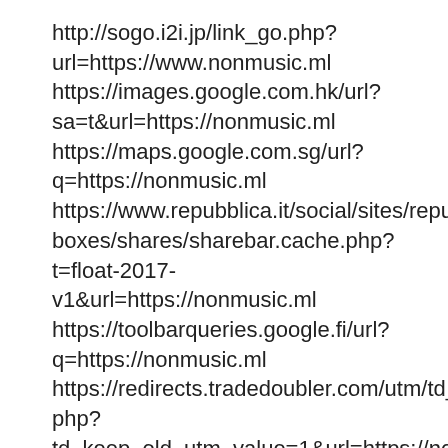http://sogo.i2i.jp/link_go.php?url=https://www.nonmusic.ml https://images.google.com.hk/url?sa=t&url=https://nonmusic.ml https://maps.google.com.sg/url?q=https://nonmusic.ml https://www.repubblica.it/social/sites/repubblica/d/boxes/shares/sharebar.cache.php?t=float-2017-v1&url=https://nonmusic.ml https://toolbarqueries.google.fi/url?q=https://nonmusic.ml https://redirects.tradedoubler.com/utm/td_redirect.php?td_keep_old_utm_value=1&url=https://nonmusic.ml http://clink.nifty.com/r/search/srch_other_f0/?https://nonmusic.ml https://cse.google.co.th/url?